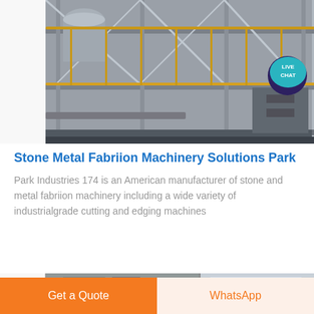[Figure (photo): Industrial factory or machinery park exterior showing multi-story concrete structure with steel framework, large industrial equipment and conveyor systems, yellow railings visible]
Stone Metal Fabriion Machinery Solutions Park
Park Industries 174 is an American manufacturer of stone and metal fabriion machinery including a wide variety of industrialgrade cutting and edging machines
[Figure (photo): Partial view of industrial machinery or factory interior, partially cut off at bottom of page]
Get a Quote
WhatsApp